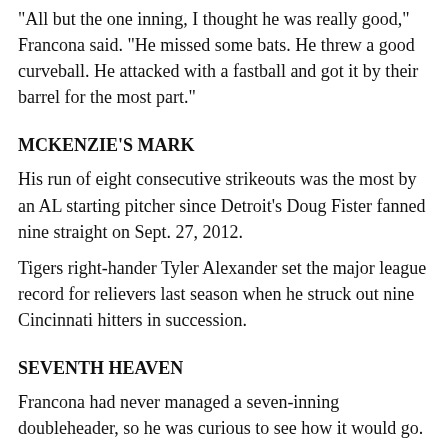"All but the one inning, I thought he was really good," Francona said. "He missed some bats. He threw a good curveball. He attacked with a fastball and got it by their barrel for the most part."
MCKENZIE'S MARK
His run of eight consecutive strikeouts was the most by an AL starting pitcher since Detroit's Doug Fister fanned nine straight on Sept. 27, 2012.
Tigers right-hander Tyler Alexander set the major league record for relievers last season when he struck out nine Cincinnati hitters in succession.
SEVENTH HEAVEN
Francona had never managed a seven-inning doubleheader, so he was curious to see how it would go.
"I'm OK with it," he said. "I understand why they're doing it. They're trying not to have a bunch of roster moves and pitching and everything, so I'm OK with it. I think there are other rules that I'll probably save my fight for."
TRAINER'S ROOM